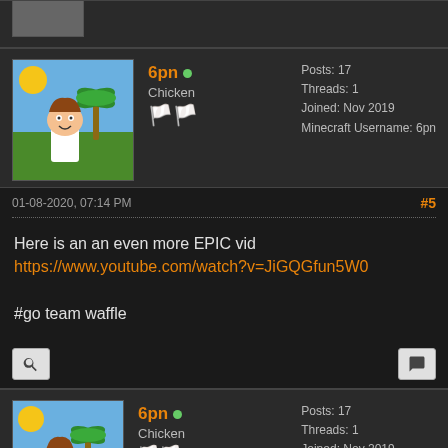6pn • Chicken | Posts: 17 | Threads: 1 | Joined: Nov 2019 | Minecraft Username: 6pn
01-08-2020, 07:14 PM #5
Here is an an even more EPIC vid https://www.youtube.com/watch?v=JiGQGfun5W0

#go team waffle
6pn • Chicken | Posts: 17 | Threads: 1 | Joined: Nov 2019 | Minecraft Username: 6pn
09-23-2021, 09:03 PM (This post was last modified: 09-23-2021, 09:08 PM by 6pn.) #6
Yeah looking back at this I cringed pretty bad. Rest assured thorough that Team Waffle is back baby and it's better than